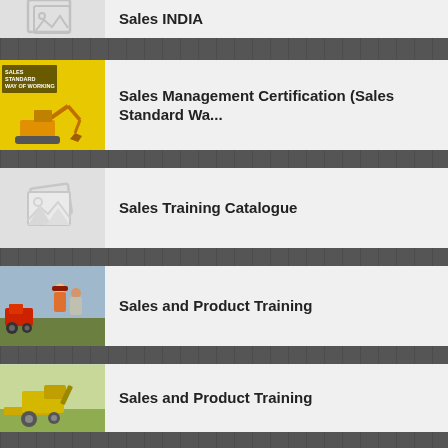Sales INDIA
Sales Management Certification (Sales Standard Wa...
Sales Training Catalogue
Sales and Product Training
Sales and Product Training
Sales and Product Training